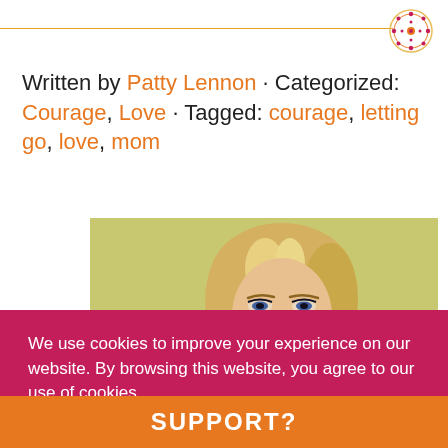[Figure (logo): Circular decorative logo/mandala in red and gold]
Written by Patty Lennon · Categorized: Courage, Love · Tagged: courage, letting go, love, mom
[Figure (photo): Portrait photo of a blonde woman holding her hand near her face, smiling, with a yellow-green background]
We use cookies to improve your experience on our website. By browsing this website, you agree to our use of cookies.
Got it!
SUPPORT?